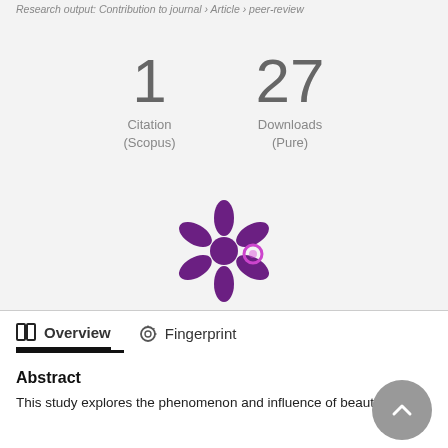Research output: Contribution to journal › Article › peer-review
1
Citation
(Scopus)
27
Downloads
(Pure)
[Figure (logo): Altmetric snowflake/asterisk logo in purple with a small pink/purple dot]
Overview
Fingerprint
Abstract
This study explores the phenomenon and influence of beauty